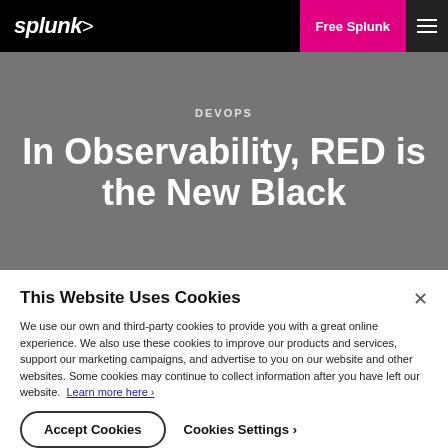splunk> | Free Splunk | ☰
DEVOPS
In Observability, RED is the New Black
This Website Uses Cookies
We use our own and third-party cookies to provide you with a great online experience. We also use these cookies to improve our products and services, support our marketing campaigns, and advertise to you on our website and other websites. Some cookies may continue to collect information after you have left our website. Learn more here ›
Accept Cookies
Cookies Settings ›